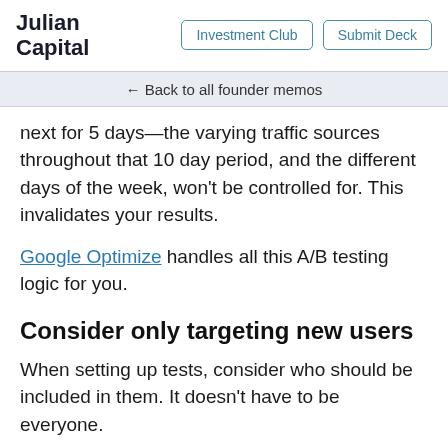Julian Capital | Investment Club | Submit Deck
← Back to all founder memos
next for 5 days—the varying traffic sources throughout that 10 day period, and the different days of the week, won't be controlled for. This invalidates your results.
Google Optimize handles all this A/B testing logic for you.
Consider only targeting new users
When setting up tests, consider who should be included in them. It doesn't have to be everyone.
For example, consider only showing an